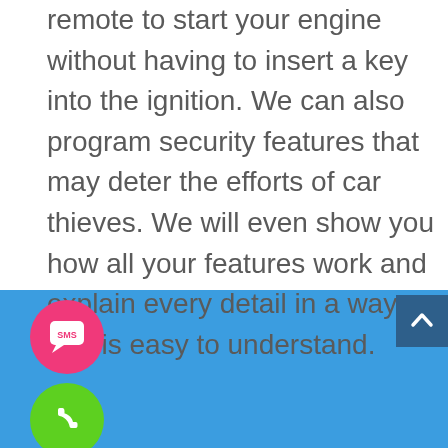remote to start your engine without having to insert a key into the ignition. We can also program security features that may deter the efforts of car thieves. We will even show you how all your features work and explain every detail in a way that is easy to understand.
[Figure (infographic): Blue footer bar with SMS button (pink circle with SMS chat icon) and phone call button (green circle with phone icon), plus a dark blue scroll-to-top arrow button in the top right corner of the footer.]